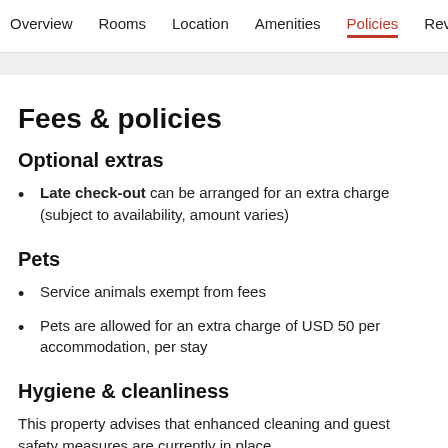Overview   Rooms   Location   Amenities   Policies   Reviews
Fees & policies
Optional extras
Late check-out can be arranged for an extra charge (subject to availability, amount varies)
Pets
Service animals exempt from fees
Pets are allowed for an extra charge of USD 50 per accommodation, per stay
Hygiene & cleanliness
This property advises that enhanced cleaning and guest safety measures are currently in place.